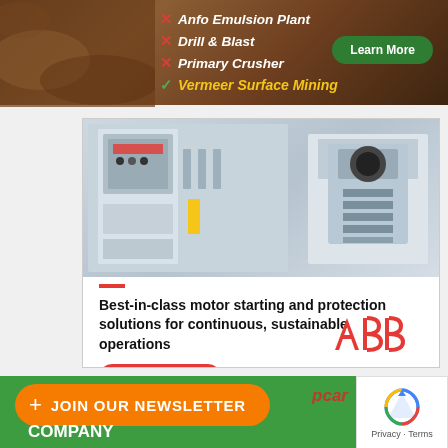[Figure (photo): Vermeer Surface Mining advertisement banner with red rocky/dirt background. Lists Anfo Emulsion Plant, Drill & Blast, Primary Crusher with red X marks, and Vermeer Surface Mining with green checkmark in yellow italic text. Green 'Learn More' button on right.]
[Figure (photo): ABB advertisement showing industrial motor control cabinet and a motor protection circuit breaker device on a grey/white background. Red accent bar, headline text 'Best-in-class motor starting and protection solutions for continuous, sustainable operations', red LEARN MORE button, and red ABB logo.]
[Figure (infographic): Bottom section showing orange 'JOIN OUR NEWSLETTER' button with plus icon, green background with company logo and 'pcar' brand text, and a white CAPTCHA/reCAPTCHA box with 'Privacy - Terms' text.]